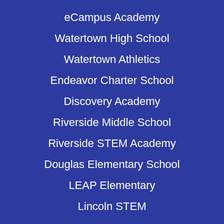eCampus Academy
Watertown High School
Watertown Athletics
Endeavor Charter School
Discovery Academy
Riverside Middle School
Riverside STEM Academy
Douglas Elementary School
LEAP Elementary
Lincoln STEM